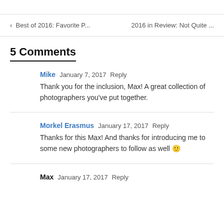< Best of 2016: Favorite P...    2016 in Review: Not Quite ...
5 Comments
Mike  January 7, 2017  Reply
Thank you for the inclusion, Max! A great collection of photographers you've put together.
Morkel Erasmus  January 17, 2017  Reply
Thanks for this Max! And thanks for introducing me to some new photographers to follow as well 🙂
Max  January 17, 2017  Reply